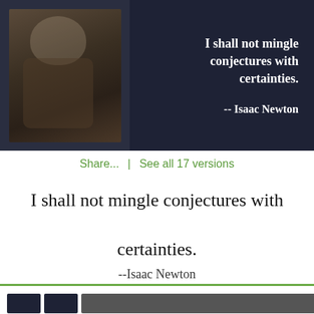[Figure (photo): Dark banner with portrait of Isaac Newton (man in period clothing and wig) on the left, and a quote on the right: 'I shall not mingle conjectures with certainties. -- Isaac Newton' in white bold text on dark background.]
Share...  |  See all 17 versions
I shall not mingle conjectures with certainties.
--Isaac Newton